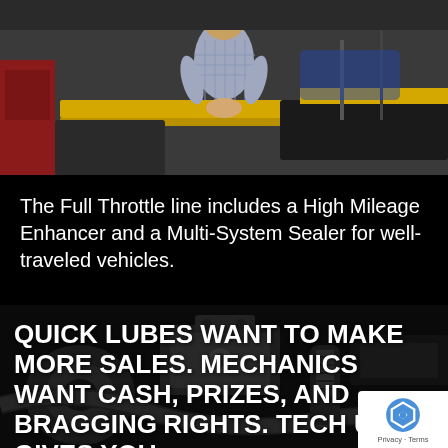[Figure (photo): Woman in plaid shirt standing in auto garage with yellow car lift in background]
The Full Throttle line includes a High Mileage Enhancer and a Multi-System Sealer for well-traveled vehicles.
[Figure (photo): Close-up of car undercarriage/engine parts in dark setting with overlaid promotional text]
QUICK LUBES WANT TO MAKE MORE SALES. MECHANICS WANT CASH, PRIZES, AND BRAGGING RIGHTS. TECH U GIVES YOU